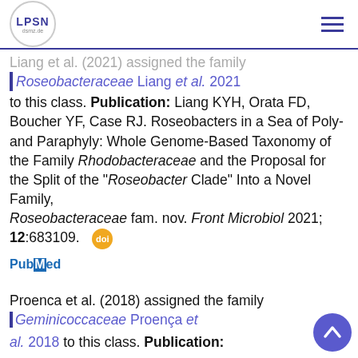LPSN dsmz.de
Liang et al. (2021) assigned the family Roseobacteraceae Liang et al. 2021 to this class. Publication: Liang KYH, Orata FD, Boucher YF, Case RJ. Roseobacters in a Sea of Poly- and Paraphyly: Whole Genome-Based Taxonomy of the Family Rhodobacteraceae and the Proposal for the Split of the "Roseobacter Clade" Into a Novel Family, Roseobacteraceae fam. nov. Front Microbiol 2021; 12:683109.
[Figure (logo): PubMed link logo in blue]
Proenca et al. (2018) assigned the family Geminicoccaceae Proença et al. 2018 to this class. Publication: